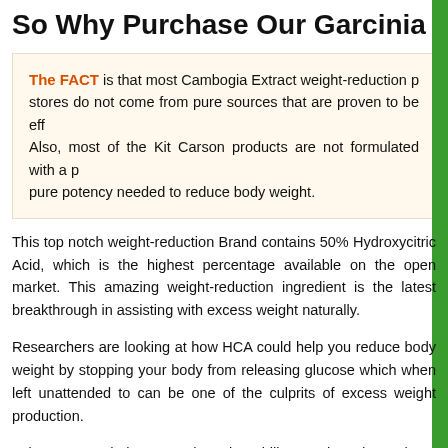So Why Purchase Our Garcinia Cambogia Ex
The FACT is that most Cambogia Extract weight-reduction products in stores do not come from pure sources that are proven to be effective. Also, most of the Kit Carson products are not formulated with a pure potency needed to reduce body weight.
This top notch weight-reduction Brand contains 50% Hydroxycitric Acid, which is the highest percentage available on the open market. This amazing weight-reduction ingredient is the latest breakthrough in assisting with excess weight naturally.
Researchers are looking at how HCA could help you reduce body weight by stopping your body from releasing glucose which when left unattended to can be one of the culprits of excess weight production.
It is suspected that HCA has the ability to slow down those cravings for food, which in turn means you are going to reduce body weight and experience fewer hunger pangs, so you will probably which means more weight-reduction with less consumption.